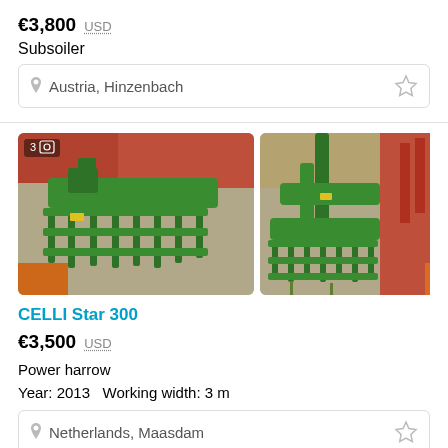€3,800  USD
Subsoiler
Austria, Hinzenbach
[Figure (photo): Two photos side by side of a green CELLI Star 300 power harrow farm implement displayed outdoors on pavement, with red farm equipment visible in the background.]
CELLI Star 300
€3,500  USD
Power harrow
Year: 2013   Working width: 3 m
Netherlands, Maasdam